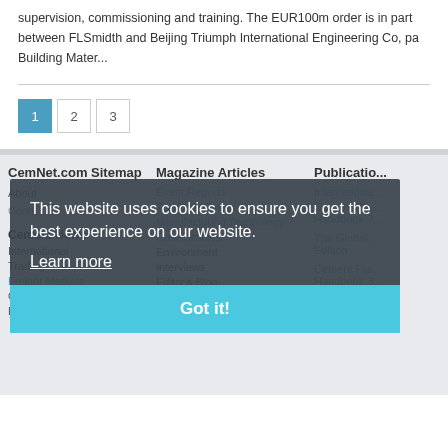supervision, commissioning and training. The EUR100m order is in part between FLSmidth and Beijing Triumph International Engineering Co, pa Building Mater...
1
2
3
CemNet.com Sitemap
Magazine Articles
Publicatio...
About
Event Reports
Internationa...
Conti...
Cement Pla... Handbook 7...
The Tech Forum
The Global... Edition
Cement News
Manufacturing Technology
Cement Pla... Handbook 3...
International
Case Studies
Conferenc...
Trading
Environment
Cemtech Li... Denarb...
Freight Markets
Interviews
Corporate
Editor's Blog
Environmental
This website uses cookies to ensure you get the best experience on our website.
Learn more
Got it!